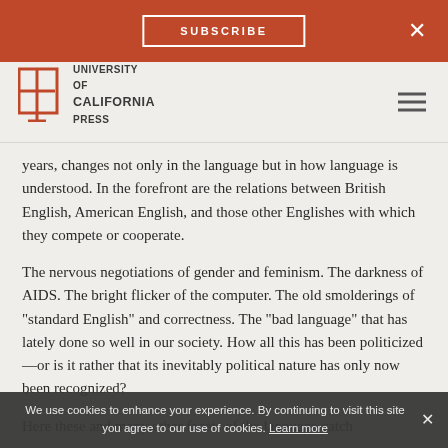SUBSCRIBE  ×
[Figure (logo): University of California Press logo — open book icon with UC Press wordmark]
years, changes not only in the language but in how language is understood. In the forefront are the relations between British English, American English, and those other Englishes with which they compete or cooperate.
The nervous negotiations of gender and feminism. The darkness of AIDS. The bright flicker of the computer. The old smolderings of "standard English" and correctness. The "bad language" that has lately done so well in our society. How all this has been politicized—or is it rather that its inevitably political nature has only now been recognized?
Here these and many other facets of the language catch
We use cookies to enhance your experience. By continuing to visit this site you agree to our use of cookies. Learn more  ×